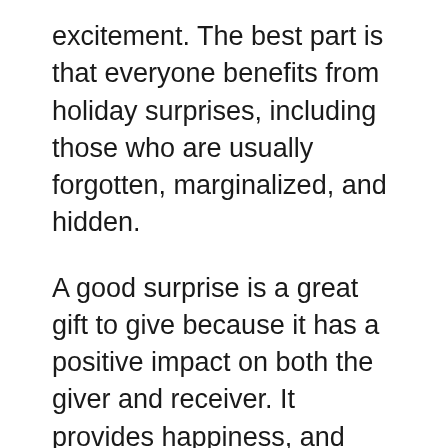excitement. The best part is that everyone benefits from holiday surprises, including those who are usually forgotten, marginalized, and hidden.
A good surprise is a great gift to give because it has a positive impact on both the giver and receiver. It provides happiness, and creates a human connection between everyone who is a part of the surprise. Shulman Law Firm found so much joy in surprising others this year. Whether it was helping our clients in ways they never expected, collecting food for families in our community, or doubling